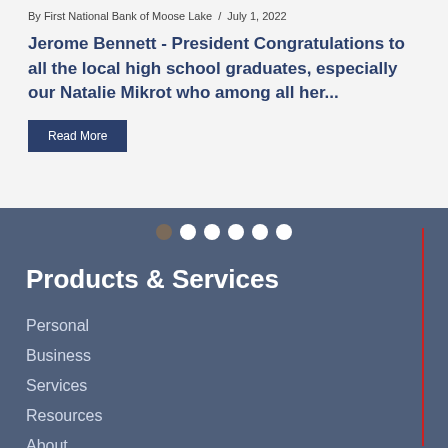By First National Bank of Moose Lake / July 1, 2022
Jerome Bennett - President Congratulations to all the local high school graduates, especially our Natalie Mikrot who among all her...
Read More
[Figure (infographic): Row of 6 circular pagination dots; first dot is dark brown/gray, the rest are white, on a steel-blue background]
Products & Services
Personal
Business
Services
Resources
About